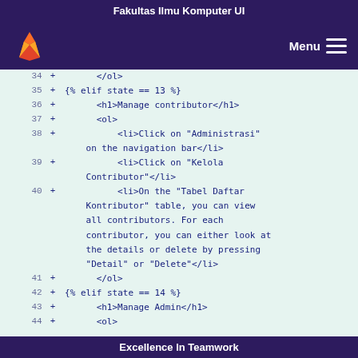Fakultas Ilmu Komputer UI
[Figure (screenshot): GitLab-style navigation bar with fox/wolf logo on left and Menu hamburger icon on right, dark purple background]
34    +        </ol>
35    + {% elif state == 13 %}
36    +        <h1>Manage contributor</h1>
37    +        <ol>
38    +            <li>Click on "Administrasi" on the navigation bar</li>
39    +            <li>Click on "Kelola Contributor"</li>
40    +            <li>On the "Tabel Daftar Kontributor" table, you can view all contributors. For each contributor, you can either look at the details or delete by pressing "Detail" or "Delete"</li>
41    +        </ol>
42    + {% elif state == 14 %}
43    +        <h1>Manage Admin</h1>
44    +        <ol>
Excellence In Teamwork